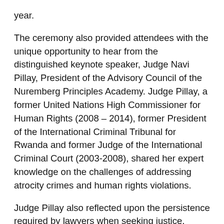year.
The ceremony also provided attendees with the unique opportunity to hear from the distinguished keynote speaker, Judge Navi Pillay, President of the Advisory Council of the Nuremberg Principles Academy. Judge Pillay, a former United Nations High Commissioner for Human Rights (2008 – 2014), former President of the International Criminal Tribunal for Rwanda and former Judge of the International Criminal Court (2003-2008), shared her expert knowledge on the challenges of addressing atrocity crimes and human rights violations.
Judge Pillay also reflected upon the persistence required by lawyers when seeking justice, stating: “Lawyers try all kinds of strategies to get access to justice for victims in many parts of the